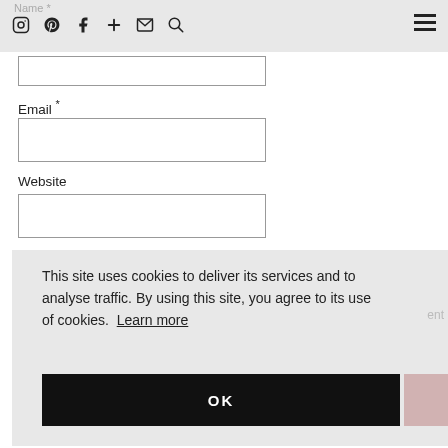Name *
Email *
Website
This site uses cookies to deliver its services and to analyse traffic. By using this site, you agree to its use of cookies. Learn more
OK